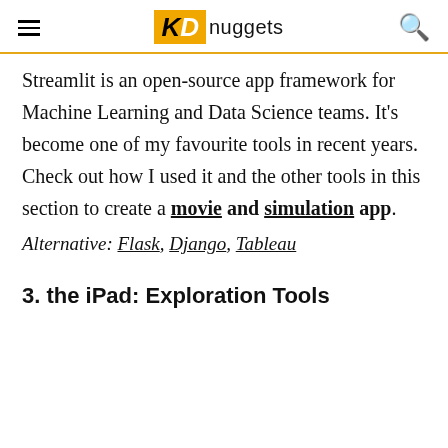KD nuggets
Streamlit is an open-source app framework for Machine Learning and Data Science teams. It's become one of my favourite tools in recent years. Check out how I used it and the other tools in this section to create a movie and simulation app.
Alternative: Flask, Django, Tableau
3. the iPad: Exploration Tools